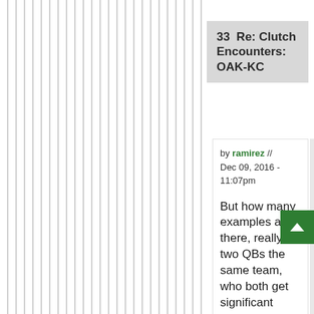33  Re: Clutch Encounters: OAK-KC
by ramirez // Dec 09, 2016 - 11:07pm
But how many examples are there, really, of two QBs the same team, who both get significant playing time...